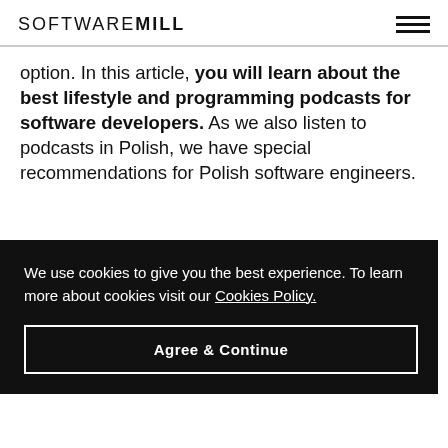SOFTWAREMILL
option. In this article, you will learn about the best lifestyle and programming podcasts for software developers. As we also listen to podcasts in Polish, we have special recommendations for Polish software engineers.
We use cookies to give you the best experience. To learn more about cookies visit our Cookies Policy.
Agree & Continue
long tradition, established in 2006. They are an educational resource than a newscast. Software